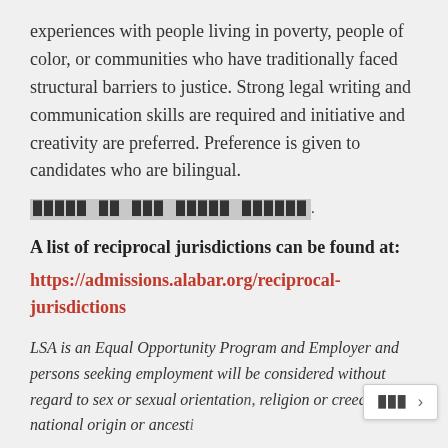experiences with people living in poverty, people of color, or communities who have traditionally faced structural barriers to justice. Strong legal writing and communication skills are required and initiative and creativity are preferred. Preference is given to candidates who are bilingual.
[garbled text]
A list of reciprocal jurisdictions can be found at: https://admissions.alabar.org/reciprocal-jurisdictions
LSA is an Equal Opportunity Program and Employer and persons seeking employment will be considered without regard to sex or sexual orientation, religion or creed, national origin or ancesti